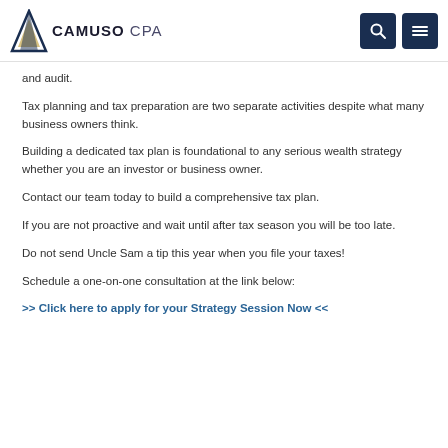CAMUSO CPA
and audit.
Tax planning and tax preparation are two separate activities despite what many business owners think.
Building a dedicated tax plan is foundational to any serious wealth strategy whether you are an investor or business owner.
Contact our team today to build a comprehensive tax plan.
If you are not proactive and wait until after tax season you will be too late.
Do not send Uncle Sam a tip this year when you file your taxes!
Schedule a one-on-one consultation at the link below:
>> Click here to apply for your Strategy Session Now <<